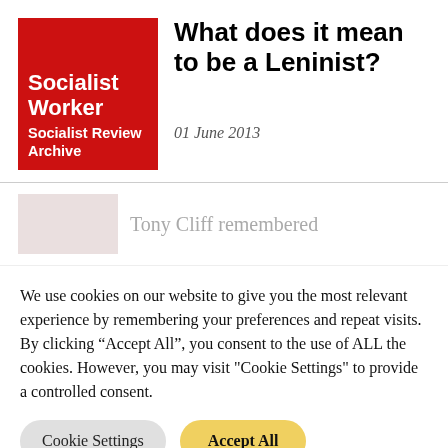[Figure (logo): Socialist Worker / Socialist Review Archive red logo box]
What does it mean to be a Leninist?
01 June 2013
Tony Cliff remembered
We use cookies on our website to give you the most relevant experience by remembering your preferences and repeat visits. By clicking “Accept All”, you consent to the use of ALL the cookies. However, you may visit "Cookie Settings" to provide a controlled consent.
Cookie Settings | Accept All